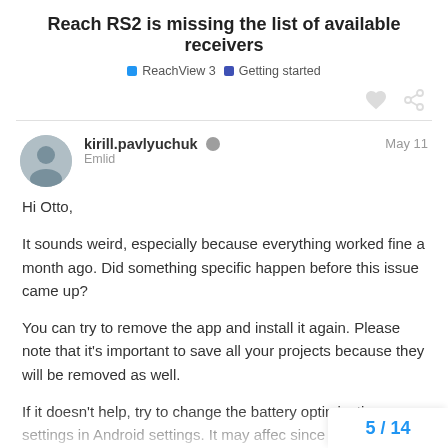Reach RS2 is missing the list of available receivers
ReachView 3  Getting started
kirill.pavlyuchuk  Emlid  May 11
Hi Otto,

It sounds weird, especially because everything worked fine a month ago. Did something specific happen before this issue came up?

You can try to remove the app and install it again. Please note that it's important to save all your projects because they will be removed as well.

If it doesn't help, try to change the battery optimization settings in Android settings. It may affec since it can close it in the background.
5 / 14